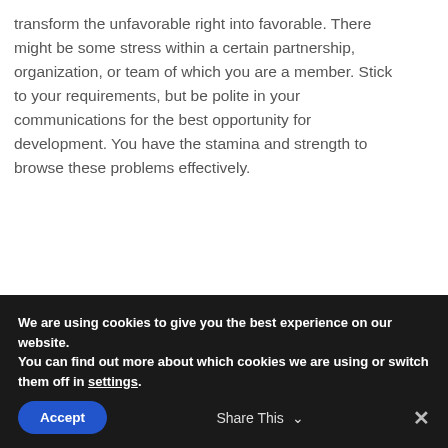transform the unfavorable right into favorable. There might be some stress within a certain partnership, organization, or team of which you are a member. Stick to your requirements, but be polite in your communications for the best opportunity for development. You have the stamina and strength to browse these problems effectively.
Recommended For You:
[Figure (photo): White rune stones with markings on a wooden surface]
[Figure (photo): Brown carved rune stones piled together on a teal surface]
We are using cookies to give you the best experience on our website.
You can find out more about which cookies we are using or switch them off in settings.